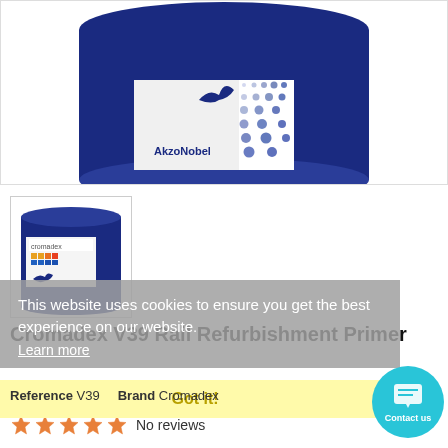[Figure (photo): Large AkzoNobel dark blue paint/primer tin, cut off at top, white label with AkzoNobel logo]
[Figure (photo): Small thumbnail of Cromadex dark blue paint tin with cromadex label]
This website uses cookies to ensure you get the best experience on our website.
Learn more
Cromadex V39 Rail Refurbishment Primer
Got it!
Reference V39   Brand Cromadex
No reviews